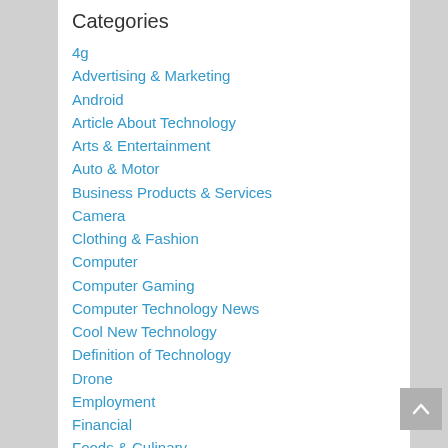Categories
4g
Advertising & Marketing
Android
Article About Technology
Arts & Entertainment
Auto & Motor
Business Products & Services
Camera
Clothing & Fashion
Computer
Computer Gaming
Computer Technology News
Cool New Technology
Definition of Technology
Drone
Employment
Financial
Foods & Culinary
Future Technology
Gambling